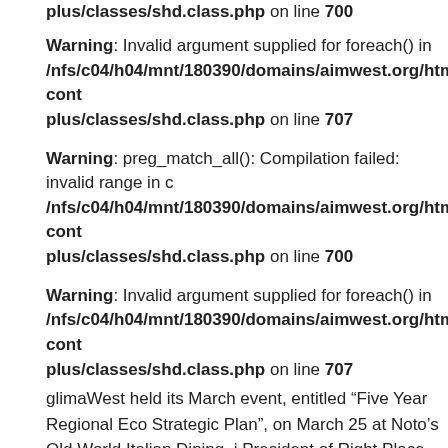plus/classes/shd.class.php on line 700
Warning: Invalid argument supplied for foreach() in /nfs/c04/h04/mnt/180390/domains/aimwest.org/html/wp-cont plus/classes/shd.class.php on line 707
Warning: preg_match_all(): Compilation failed: invalid range in c /nfs/c04/h04/mnt/180390/domains/aimwest.org/html/wp-cont plus/classes/shd.class.php on line 700
Warning: Invalid argument supplied for foreach() in /nfs/c04/h04/mnt/180390/domains/aimwest.org/html/wp-cont plus/classes/shd.class.php on line 707
glimaWest held its March event, entitled “Five Year Regional Eco Strategic Plan”, on March 25 at Noto’s Old World Italian Dining, i President of Right Place, Inc., discussed that our region is chang sciences, advanced technology, homeland security and life scien industries in Michigan and our region. We learned about the five- strategy... Read More
Tech 5:01